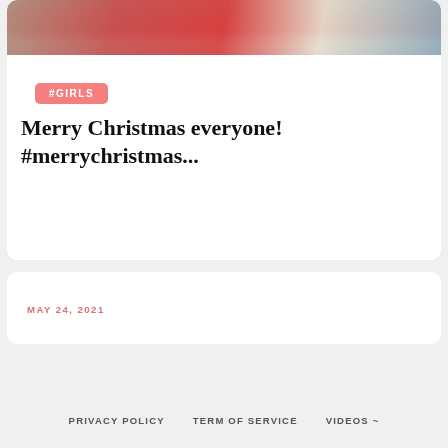[Figure (photo): Partial photo of a person in a red dress near a yellow and blue object, cropped at top]
#GIRLS
Merry Christmas everyone! #merrychristmas...
MAY 24, 2021
PRIVACY POLICY   TERM OF SERVICE   VIDEOS ~